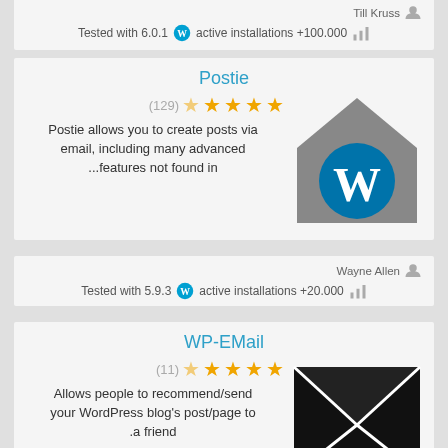Till Kruss
Tested with 6.0.1  active installations +100.000
Postie
(129) ★★★★★
Postie allows you to create posts via email, including many advanced ...features not found in
[Figure (logo): WordPress logo inside a house/envelope shaped gray hexagon]
Wayne Allen
Tested with 5.9.3  active installations +20.000
WP-EMail
(11) ★★★★★
Allows people to recommend/send your WordPress blog's post/page to .a friend
[Figure (illustration): Black envelope icon with white X cross lines]